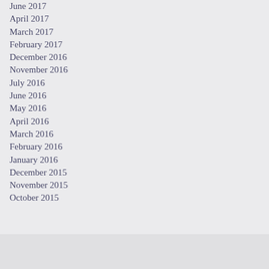June 2017
April 2017
March 2017
February 2017
December 2016
November 2016
July 2016
June 2016
May 2016
April 2016
March 2016
February 2016
January 2016
December 2015
November 2015
October 2015